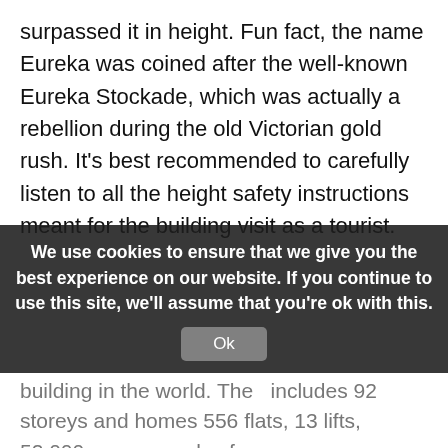surpassed it in height. Fun fact, the name Eureka was coined after the well-known Eureka Stockade, which was actually a rebellion during the old Victorian gold rush. It's best recommended to carefully listen to all the height safety instructions meant for the building visit as a tourist.
[Figure (photo): Close-up photo of a modern glass and steel high-rise building with diagonal architectural lines.]
The 14th tallest apartment building in the world, Eureka
We use cookies to ensure that we give you the best experience on our website. If you continue to use this site, we'll assume that you're ok with this.
Tower is
building in the world. The includes 92 storeys and homes 556 flats, 13 lifts, 52,000 square yards of